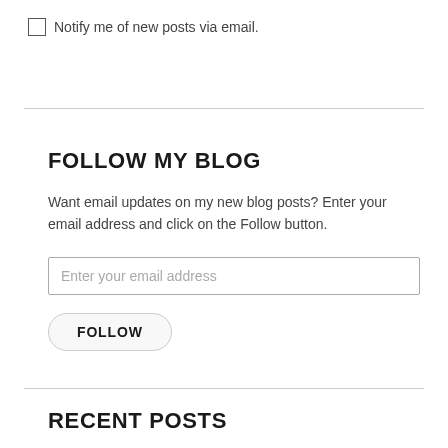Notify me of new posts via email.
FOLLOW MY BLOG
Want email updates on my new blog posts? Enter your email address and click on the Follow button.
Enter your email address
FOLLOW
RECENT POSTS